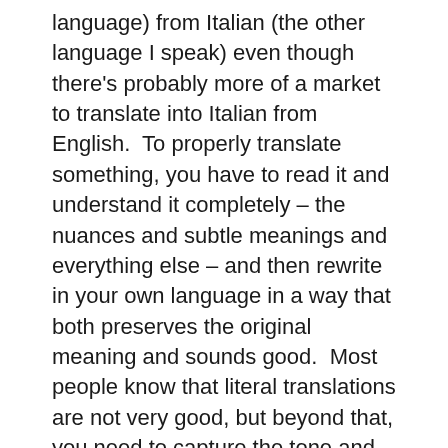language) from Italian (the other language I speak) even though there's probably more of a market to translate into Italian from English.  To properly translate something, you have to read it and understand it completely – the nuances and subtle meanings and everything else – and then rewrite in your own language in a way that both preserves the original meaning and sounds good.  Most people know that literal translations are not very good, but beyond that, you need to capture the tone and style of the author as much as possible, while still writing something that sounds good in the target language.  Even the reading part of the process, let alone the rewriting, is fairly involved, as you can't just cruise through the book, enjoying it.  You have to read and fully digest every single phrase.  Then you have to go through, again, reading, writing, and reorganizing, a bit at a time.
It's a very time-intensive process, but one you don't want to try and get done on the cheap, because the people reading the results are going to think that the shoddy work is